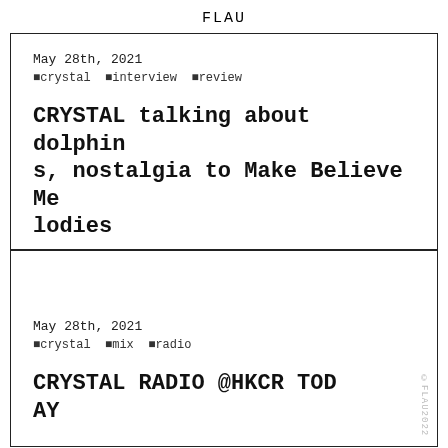FLAU
May 28th, 2021
#crystal #interview #review
CRYSTAL talking about dolphins, nostalgia to Make Believe Melodies
May 28th, 2021
#crystal #mix #radio
CRYSTAL RADIO @HKCR TODAY
©FLAU2022